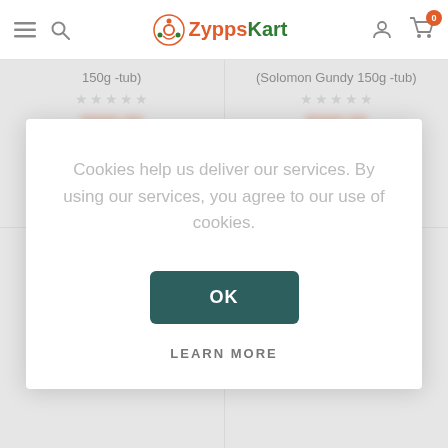ZyppsKart — navigation bar with menu, search, logo, user, cart (0)
150g -tub)
(Solomon Gundy 150g -tub)
$1,402.80 excl tax
$1,402.80 excl tax
[Figure (screenshot): Tastee Cheese can product image, left column bottom]
[Figure (screenshot): Tastee Cheese can product image, right column bottom]
Cookies help us deliver our services. By using our services, you agree to our use of cookies.
OK
LEARN MORE